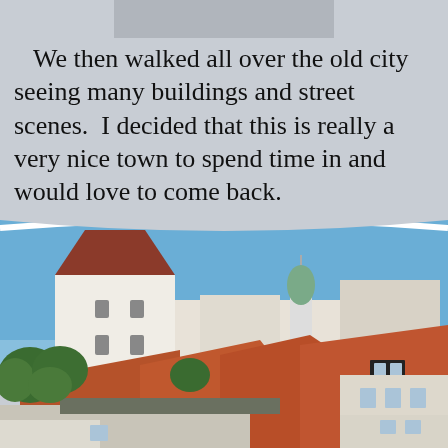[Figure (photo): Partial top image bar — cropped photograph at the very top of the page, appears grey/muted.]
We then walked all over the old city seeing many buildings and street scenes.  I decided that this is really a very nice town to spend time in and would love to come back.
[Figure (photo): Photograph of an old European town with white buildings, red/terracotta tiled roofs, a square tower with a dark red pyramidal roof, green-domed church spire in background, blue sky, and green trees in the foreground.]